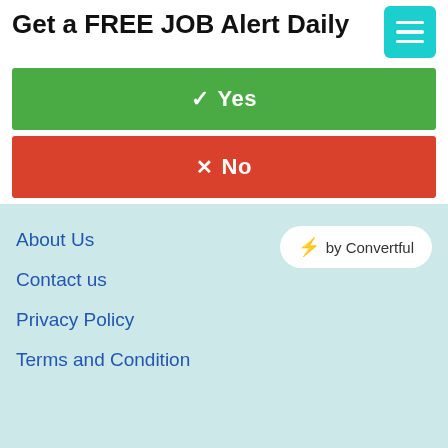Get a FREE JOB Alert Daily
✓ Yes
✕ No
About Us
Contact us
Privacy Policy
Terms and Condition
⚡ by Convertful
SarkariResult.com, Sarkari Result Info 2020, Sarkari Result Job Sarkari Result Info 2020: Latest Royal Govt